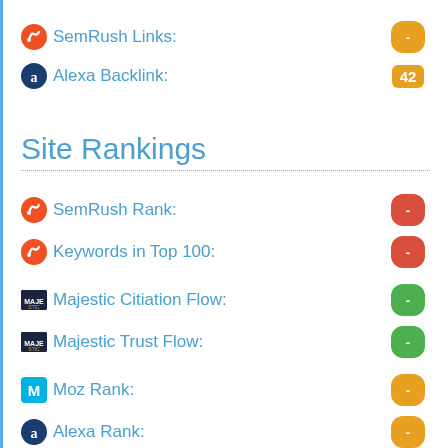SemRush Links: -
Alexa Backlink: 42
Site Rankings
SemRush Rank: -
Keywords in Top 100: -
Majestic Citiation Flow: -
Majestic Trust Flow: -
Moz Rank: -
Alexa Rank: -
Moz DA(Domain Auth.): -